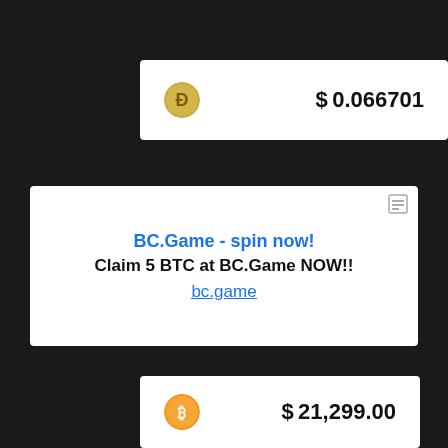[Figure (infographic): Dogecoin price card: Dogecoin coin icon on left, price $0.066701 on right]
[Figure (infographic): Advertisement card for BC.Game with title 'BC.Game - spin now!', subtitle 'Claim 5 BTC at BC.Game NOW!!', and link bc.game]
[Figure (infographic): Bitcoin price card: Bitcoin coin icon on left, price $21,299.00 on right]